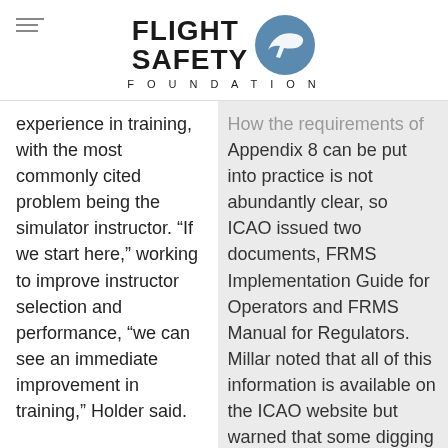FLIGHT SAFETY FOUNDATION
experience in training, with the most commonly cited problem being the simulator instructor. “If we start here,” working to improve instructor selection and performance, “we can see an immediate improvement in training,” Holder said.

Training also has a
How the requirements of Appendix 8 can be put into practice is not abundantly clear, so ICAO issued two documents, FRMS Implementation Guide for Operators and FRMS Manual for Regulators. Millar noted that all of this information is available on the ICAO website but warned that some digging through the site might be needed to come up with the appropriate documents.